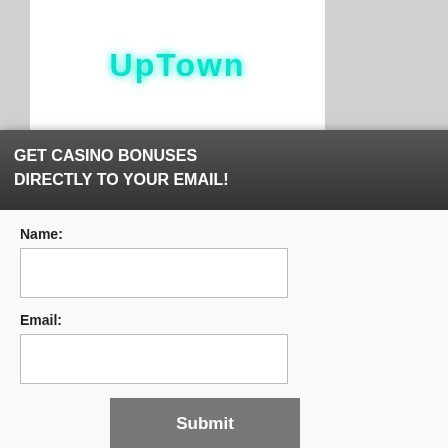[Figure (screenshot): Background website page showing a casino website with logo, welcome bonus heading, and cookie consent banner]
[Figure (screenshot): Modal popup overlay with dark header and white form body containing email signup form]
GET CASINO BONUSES DIRECTLY TO YOUR EMAIL!
Name:
Email:
Submit
By subscribing you are certifying that you have reviewed and accepted our updated Privacy and Cookie policy.